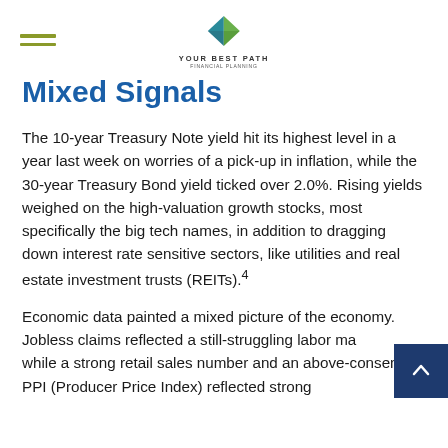YOUR BEST PATH
Mixed Signals
The 10-year Treasury Note yield hit its highest level in a year last week on worries of a pick-up in inflation, while the 30-year Treasury Bond yield ticked over 2.0%. Rising yields weighed on the high-valuation growth stocks, most specifically the big tech names, in addition to dragging down interest rate sensitive sectors, like utilities and real estate investment trusts (REITs).⁴
Economic data painted a mixed picture of the economy. Jobless claims reflected a still-struggling labor market, while a strong retail sales number and an above-consensus PPI (Producer Price Index) reflected strong